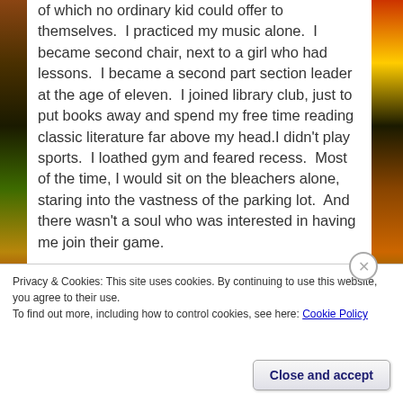of which no ordinary kid could offer to themselves.  I practiced my music alone.  I became second chair, next to a girl who had lessons.  I became a second part section leader at the age of eleven.  I joined library club, just to put books away and spend my free time reading classic literature far above my head.I didn't play sports.  I loathed gym and feared recess.  Most of the time, I would sit on the bleachers alone, staring into the vastness of the parking lot.  And there wasn't a soul who was interested in having me join their game.
I was a sensitive child who needed to grow thicker skin.
Privacy & Cookies: This site uses cookies. By continuing to use this website, you agree to their use.
To find out more, including how to control cookies, see here: Cookie Policy